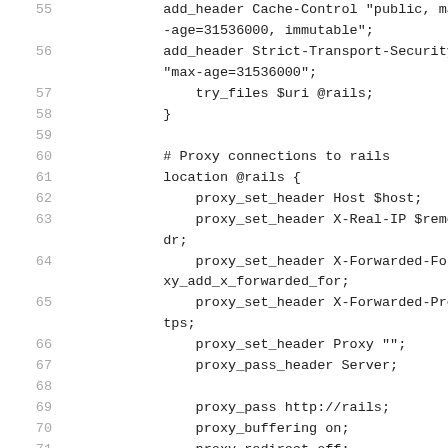[Figure (screenshot): Code listing showing nginx configuration lines 55-72, including add_header Cache-Control, add_header Strict-Transport-Security, try_files, closing brace, Proxy connections to rails comment, location @rails block with proxy_set_header and proxy_pass directives.]